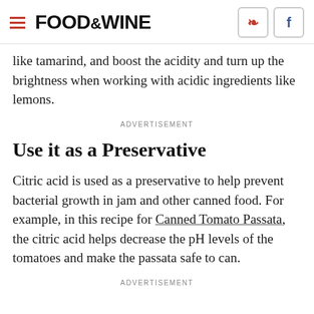FOOD & WINE
like tamarind, and boost the acidity and turn up the brightness when working with acidic ingredients like lemons.
ADVERTISEMENT
Use it as a Preservative
Citric acid is used as a preservative to help prevent bacterial growth in jam and other canned food. For example, in this recipe for Canned Tomato Passata, the citric acid helps decrease the pH levels of the tomatoes and make the passata safe to can.
ADVERTISEMENT